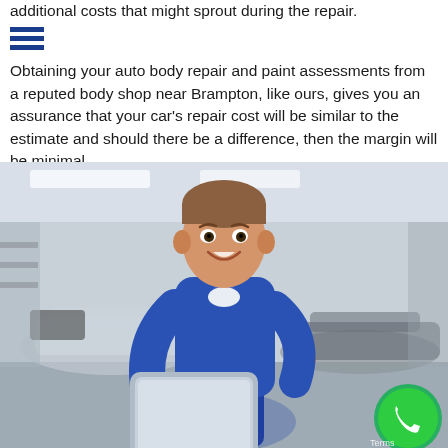additional costs that might sprout during the repair. Obtaining your auto body repair and paint assessments from a reputed body shop near Brampton, like ours, gives you an assurance that your car's repair cost will be similar to the estimate and should there be a difference, then the margin will be minimal.
[Figure (photo): A smiling mechanic in a blue jumpsuit holding a tablet/clipboard, standing in an auto body repair shop with cars visible in the blurred background. A green phone call button is visible in the bottom right corner.]